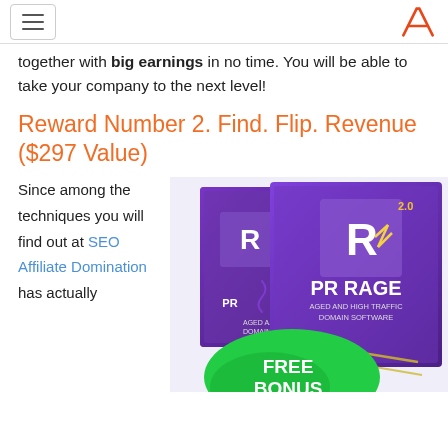[Navigation menu button] [Logo A]
together with big earnings in no time. You will be able to take your company to the next level!
Reward Number 2. Find. Flip. Revenue ($297 Value)
Since among the techniques you will find out at SEO Affiliate Domination has actually
[Figure (photo): Purple product box software packaging for PR RAGE 2.0 - Aged and High Traffic Domain Software, with a green FREE BONUS badge in the foreground. Two box versions shown.]